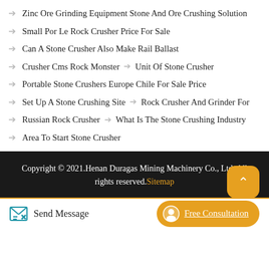Zinc Ore Grinding Equipment Stone And Ore Crushing Solution
Small Por Le Rock Crusher Price For Sale
Can A Stone Crusher Also Make Rail Ballast
Crusher Cms Rock Monster → Unit Of Stone Crusher
Portable Stone Crushers Europe Chile For Sale Price
Set Up A Stone Crushing Site → Rock Crusher And Grinder For
Russian Rock Crusher → What Is The Stone Crushing Industry
Area To Start Stone Crusher
Copyright © 2021.Henan Duragas Mining Machinery Co., Ltd. All rights reserved. Sitemap
Send Message
Free Consultation